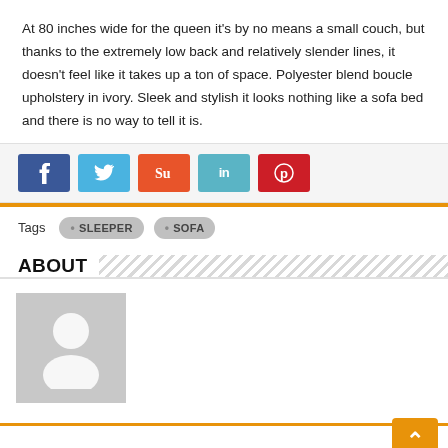At 80 inches wide for the queen it's by no means a small couch, but thanks to the extremely low back and relatively slender lines, it doesn't feel like it takes up a ton of space. Polyester blend boucle upholstery in ivory. Sleek and stylish it looks nothing like a sofa bed and there is no way to tell it is.
[Figure (other): Social share buttons: Facebook (blue), Twitter (light blue), StumbleUpon (orange-red), LinkedIn (teal), Pinterest (red)]
Tags  • SLEEPER  • SOFA
ABOUT
[Figure (photo): Generic user avatar placeholder — grey square with white silhouette of a person]